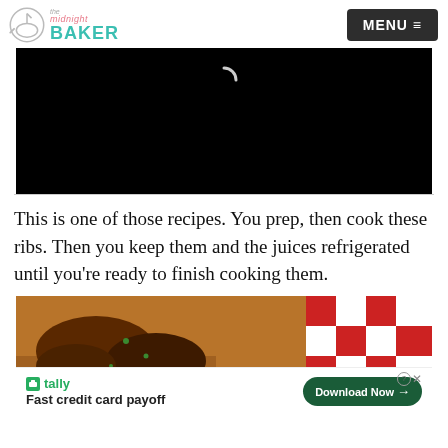The Midnight Baker — MENU
[Figure (screenshot): Black video player area with loading spinner]
This is one of those recipes. You prep, then cook these ribs. Then you keep them and the juices refrigerated until you're ready to finish cooking them.
[Figure (photo): Photo of cooked ribs on a cutting board with red checkered tablecloth, and a Tally app advertisement banner at the bottom reading 'Fast credit card payoff' with a 'Download Now' button]